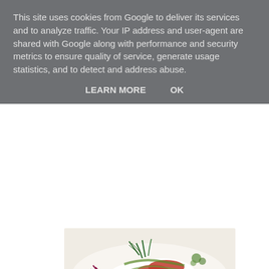This site uses cookies from Google to deliver its services and to analyze traffic. Your IP address and user-agent are shared with Google along with performance and security metrics to ensure quality of service, generate usage statistics, and to detect and address abuse.
LEARN MORE    OK
[Figure (photo): A plated caprese-style dish with sliced mozzarella, tomatoes, and fresh herbs including dill and microgreens on a white plate]
Ingredients
serves 2
1 Mozzarella ball
2 medium tomatoes
For the dressing